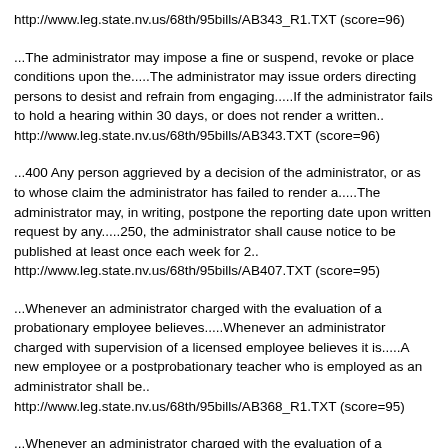http://www.leg.state.nv.us/68th/95bills/AB343_R1.TXT (score=96)
...The administrator may impose a fine or suspend, revoke or place conditions upon the.....The administrator may issue orders directing persons to desist and refrain from engaging.....If the administrator fails to hold a hearing within 30 days, or does not render a written.. http://www.leg.state.nv.us/68th/95bills/AB343.TXT (score=96)
...400 Any person aggrieved by a decision of the administrator, or as to whose claim the administrator has failed to render a.....The administrator may, in writing, postpone the reporting date upon written request by any.....250, the administrator shall cause notice to be published at least once each week for 2.. http://www.leg.state.nv.us/68th/95bills/AB407.TXT (score=95)
...Whenever an administrator charged with the evaluation of a probationary employee believes.....Whenever an administrator charged with supervision of a licensed employee believes it is.....A new employee or a postprobationary teacher who is employed as an administrator shall be.. http://www.leg.state.nv.us/68th/95bills/AB368_R1.TXT (score=95)
...Whenever an administrator charged with the evaluation of a probationary employee believes.....Whenever an administrator charged with supervision of a licensed employee believes it is.....A new employee or a postprobationary teacher who is employed as an administrator shall be.. http://www.leg.state.nv.us/68th/95bills/AB368_EN.TXT (score=95)